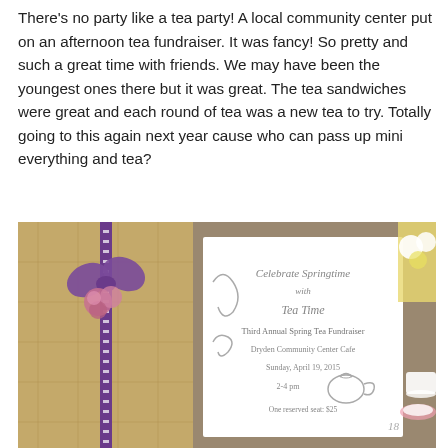There's no party like a tea party! A local community center put on an afternoon tea fundraiser. It was fancy! So pretty and such a great time with friends. We may have been the youngest ones there but it was great. The tea sandwiches were great and each round of tea was a new tea to try. Totally going to this again next year cause who can pass up mini everything and tea?
[Figure (photo): A photograph showing a decorated gift box wrapped with a purple ribbon bow with floral embellishment, and an invitation card for the 'Third Annual Spring Tea Fundraiser' at Dryden Community Center Cafe, Sunday April 19, 2015, 2-4 pm, One reserved seat $25. The invitation features cursive text reading 'Celebrate Springtime with Tea Time' and has a teapot illustration. Flowers visible in background right.]